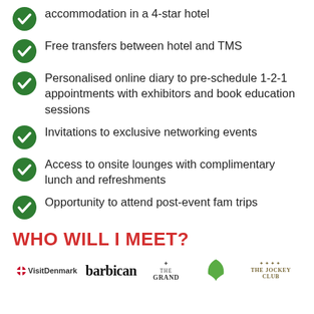accommodation in a 4-star hotel
Free transfers between hotel and TMS
Personalised online diary to pre-schedule 1-2-1 appointments with exhibitors and book education sessions
Invitations to exclusive networking events
Access to onsite lounges with complimentary lunch and refreshments
Opportunity to attend post-event fam trips
WHO WILL I MEET?
[Figure (logo): Row of logos: VisitDenmark, Barbican, The Grand, Center Parcs, The Jockey Club]